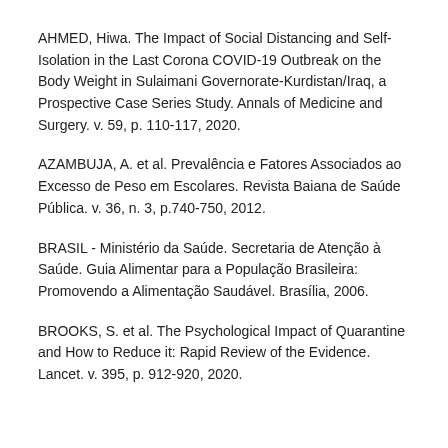AHMED, Hiwa. The Impact of Social Distancing and Self-Isolation in the Last Corona COVID-19 Outbreak on the Body Weight in Sulaimani Governorate-Kurdistan/Iraq, a Prospective Case Series Study. Annals of Medicine and Surgery. v. 59, p. 110-117, 2020.
AZAMBUJA, A. et al. Prevalência e Fatores Associados ao Excesso de Peso em Escolares. Revista Baiana de Saúde Pública. v. 36, n. 3, p.740-750, 2012.
BRASIL - Ministério da Saúde. Secretaria de Atenção à Saúde. Guia Alimentar para a População Brasileira: Promovendo a Alimentação Saudável. Brasília, 2006.
BROOKS, S. et al. The Psychological Impact of Quarantine and How to Reduce it: Rapid Review of the Evidence. Lancet. v. 395, p. 912-920, 2020.